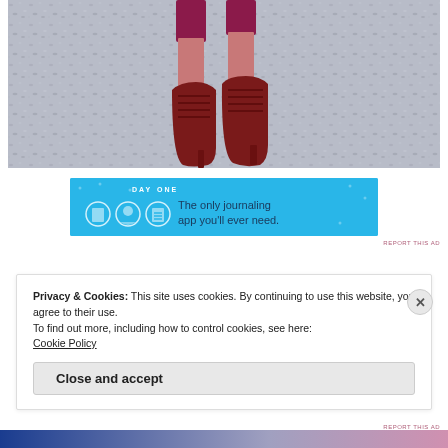[Figure (photo): Close-up photograph of a person's legs wearing dark red/maroon cropped pants and red lace-up high-heel ankle boots, standing on a gray speckled ground surface.]
[Figure (screenshot): Advertisement banner for Day One journaling app on a blue background. Shows 'DAY ONE' logo with three circular icons and the text 'The only journaling app you'll ever need.']
REPORT THIS AD
Privacy & Cookies: This site uses cookies. By continuing to use this website, you agree to their use.
To find out more, including how to control cookies, see here:
Cookie Policy
Close and accept